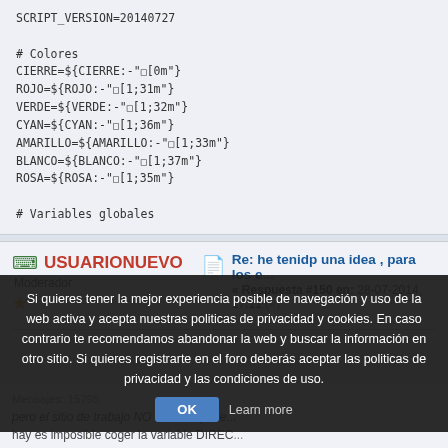SCRIPT_VERSION=20140727

# Colores
CIERRE=${CIERRE:-"\e[0m"}
ROJO=${ROJO:-"\e[1;31m"}
VERDE=${VERDE:-"\e[1;32m"}
CYAN=${CYAN:-"\e[1;36m"}
AMARILLO=${AMARILLO:-"\e[1;33m"}
BLANCO=${BLANCO:-"\e[1;37m"}
ROSA=${ROSA:-"\e[1;35m"}

# Variables globales
USUARIONUEVO | Moderador
Re: he tenidp una idea , para los e... « Respuesta #150 en: 28-07-2014, 17:11 («)
Si quieres tener la mejor experiencia posible de navegación y uso de la web activa y acepta nuestras politicas de privacidad y cookies. En caso contrario te recomendamos abandonar la web y buscar la información en otro sitio. Si quieres registrarte en el foro deberás aceptar las politicas de privacidad y las condiciones de uso.
hay es imposible coger la variable DIREC...